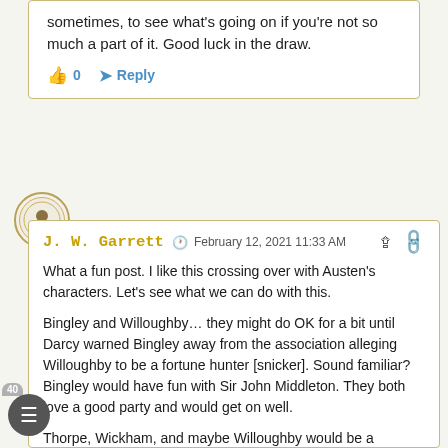sometimes, to see what's going on if you're not so much a part of it. Good luck in the draw.
👍 0   ➤ Reply
J. W. Garrett  🕐 February 12, 2021 11:33 AM  🔗
What a fun post. I like this crossing over with Austen's characters. Let's see what we can do with this.
Bingley and Willoughby… they might do OK for a bit until Darcy warned Bingley away from the association alleging Willoughby to be a fortune hunter [snicker]. Sound familiar? Bingley would have fun with Sir John Middleton. They both love a good party and would get on well.
Thorpe, Wickham, and maybe Willoughby would be a nightmare waiting to happen. Tell all the girls to RUN!! All three are self-centered [varying degrees of severity],